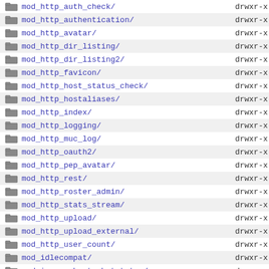mod_http_auth_check/ drwxr-x
mod_http_authentication/ drwxr-x
mod_http_avatar/ drwxr-x
mod_http_dir_listing/ drwxr-x
mod_http_dir_listing2/ drwxr-x
mod_http_favicon/ drwxr-x
mod_http_host_status_check/ drwxr-x
mod_http_hostaliases/ drwxr-x
mod_http_index/ drwxr-x
mod_http_logging/ drwxr-x
mod_http_muc_log/ drwxr-x
mod_http_oauth2/ drwxr-x
mod_http_pep_avatar/ drwxr-x
mod_http_rest/ drwxr-x
mod_http_roster_admin/ drwxr-x
mod_http_stats_stream/ drwxr-x
mod_http_upload/ drwxr-x
mod_http_upload_external/ drwxr-x
mod_http_user_count/ drwxr-x
mod_idlecompat/ drwxr-x
mod_ignore_host_chatstates/ drwxr-x
mod_incidents_handling/ drwxr-x
drwxr-x